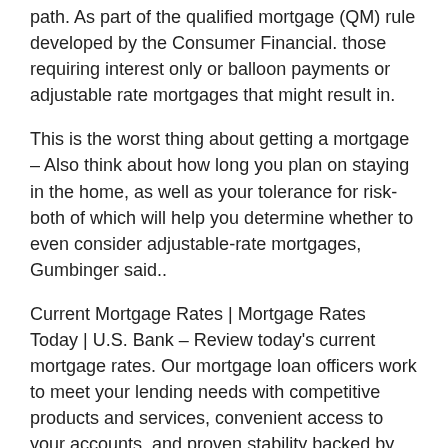path. As part of the qualified mortgage (QM) rule developed by the Consumer Financial. those requiring interest only or balloon payments or adjustable rate mortgages that might result in.
This is the worst thing about getting a mortgage – Also think about how long you plan on staying in the home, as well as your tolerance for risk-both of which will help you determine whether to even consider adjustable-rate mortgages, Gumbinger said..
Current Mortgage Rates | Mortgage Rates Today | U.S. Bank – Review today's current mortgage rates. Our mortgage loan officers work to meet your lending needs with competitive products and services, convenient access to your accounts, and proven stability backed by industry-leading financial metrics.
What'S A 5/1 Arm Mortgage Adjustable-Rate Mortgage – ARM – Investopedia – An adjustable rate mortgage (ARM) is a type of